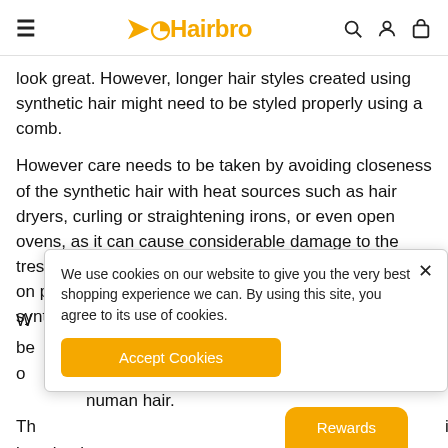Hairbro
look great. However, longer hair styles created using synthetic hair might need to be styled properly using a comb.
However care needs to be taken by avoiding closeness of the synthetic hair with heat sources such as hair dryers, curling or straightening irons, or even open ovens, as it can cause considerable damage to the tresses. In addition, the friction caused by placing hair on pillow covers or wearing caps and helmets over synthetic hair can ruin its look by making it fizzy.
We use cookies on our website to give you the very best shopping experience we can. By using this site, you agree to its use of cookies.
Accept Cookies
Rewards